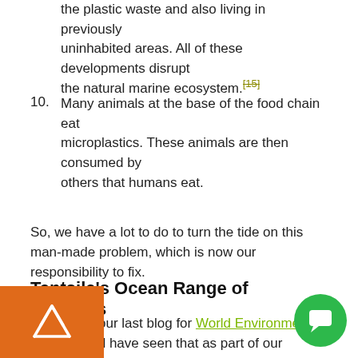the plastic waste and also living in previously uninhabited areas. All of these developments disrupt the natural marine ecosystem.[15]
10. Many animals at the base of the food chain eat microplastics. These animals are then consumed by others that humans eat.
So, we have a lot to do to turn the tide on this man-made problem, which is now our responsibility to fix.
Tentsile's Ocean Range of Products
If you read our last blog for World Environment Day, you will have seen that as part of our ongoing commitment to developing sustainable business practices, we have banned the use of all single-use plastic. This is from the suppliers with, to the packaging of our products.
And, to celebrate World Ocean Day we are launching two
[Figure (logo): Orange square with white Tentsile tent/triangle logo]
[Figure (other): Green circular chat/message button icon]